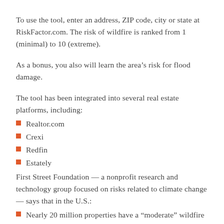To use the tool, enter an address, ZIP code, city or state at RiskFactor.com. The risk of wildfire is ranked from 1 (minimal) to 10 (extreme).
As a bonus, you also will learn the area’s risk for flood damage.
The tool has been integrated into several real estate platforms, including:
Realtor.com
Crexi
Redfin
Estately
First Street Foundation — a nonprofit research and technology group focused on risks related to climate change — says that in the U.S.:
Nearly 20 million properties have a “moderate” wildfire risk